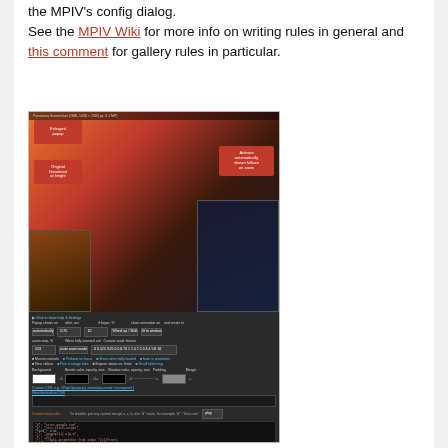the MPIV's config dialog.
See the MPIV Wiki for more info on writing rules in general and this comment for gallery rules in particular.
[Figure (screenshot): Screenshot of the MPIV browser extension configuration dialog, showing a popup preview of an image gallery with red overlay buttons ('Enlarged popup', 'Original Download at height'), an 'Activate automatically shown fullsize on zoom' button, settings controls for popup behavior, custom host rules, a code editor with JavaScript/JSON rules, and Save/Apply/Import/Export/Cancel buttons.]